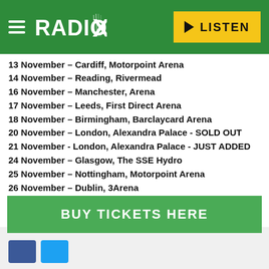Radio X | LISTEN
13 November – Cardiff, Motorpoint Arena
14 November – Reading, Rivermead
16 November – Manchester, Arena
17 November – Leeds, First Direct Arena
18 November – Birmingham, Barclaycard Arena
20 November – London, Alexandra Palace - SOLD OUT
21 November - London, Alexandra Palace - JUST ADDED
24 November – Glasgow, The SSE Hydro
25 November – Nottingham, Motorpoint Arena
26 November  – Dublin, 3Arena
28 November – Bournemouth, BIC
29 November – Brighton, Centre
BUY TICKETS HERE